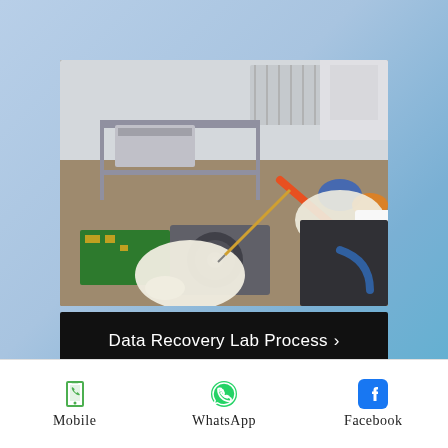[Figure (photo): Lab technician in white gloves working on hard drive components on a workbench, with various computer parts and tools scattered around. Another person visible in background with protective gear.]
Data Recovery Lab Process ›
[Figure (logo): Globe icon with ONLINE text in large bold letters]
Mobile
WhatsApp
Facebook